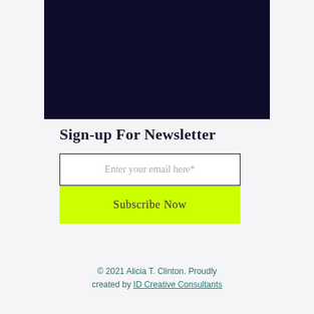[Figure (other): Dark navy blue banner/rectangle at top center of page]
Sign-up For Newsletter
Enter your email here*
Subscribe Now
© 2021 Alicia T. Clinton. Proudly created by ID Creative Consultants